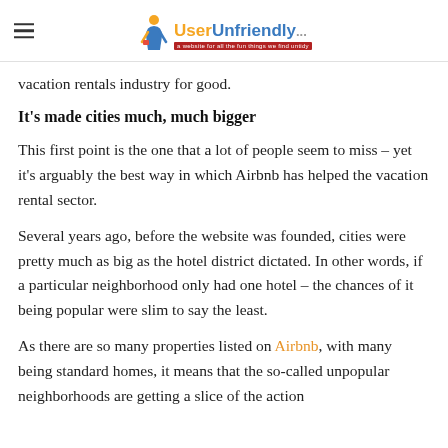UserUnfriendly
vacation rentals industry for good.
It's made cities much, much bigger
This first point is the one that a lot of people seem to miss – yet it's arguably the best way in which Airbnb has helped the vacation rental sector.
Several years ago, before the website was founded, cities were pretty much as big as the hotel district dictated. In other words, if a particular neighborhood only had one hotel – the chances of it being popular were slim to say the least.
As there are so many properties listed on Airbnb, with many being standard homes, it means that the so-called unpopular neighborhoods are getting a slice of the action